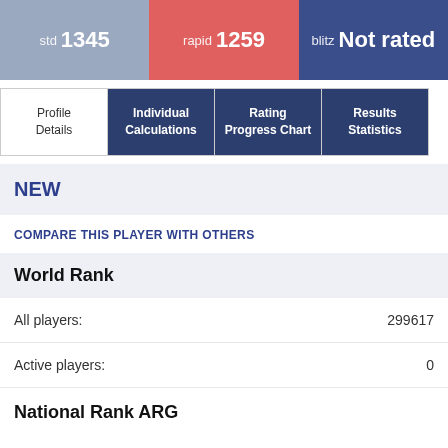std 1345
rapid 1259
blitz Not rated
Profile Details
Individual Calculations
Rating Progress Chart
Results Statistics
NEW
COMPARE THIS PLAYER WITH OTHERS
World Rank
All players: 299617
Active players: 0
National Rank ARG